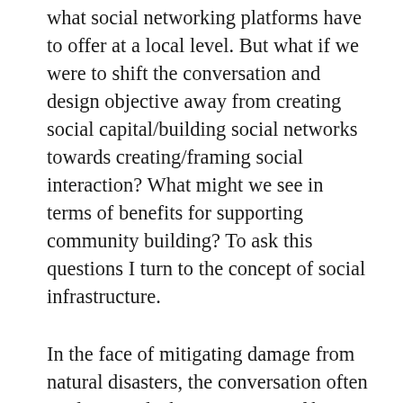what social networking platforms have to offer at a local level. But what if we were to shift the conversation and design objective away from creating social capital/building social networks towards creating/framing social interaction? What might we see in terms of benefits for supporting community building? To ask this questions I turn to the concept of social infrastructure.
In the face of mitigating damage from natural disasters, the conversation often tends towards the importance of having appropriate physical infrastructure. In New...